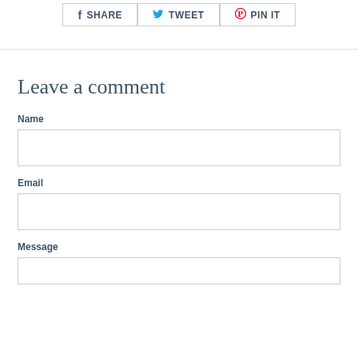[Figure (other): Social share buttons row: Facebook SHARE, Twitter TWEET, Pinterest PIN IT]
Leave a comment
Name
Email
Message